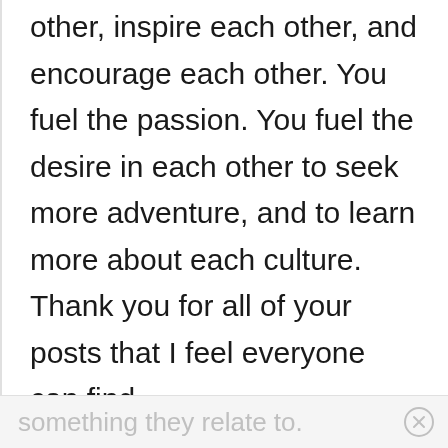other, inspire each other, and encourage each other. You fuel the passion. You fuel the desire in each other to seek more adventure, and to learn more about each culture. Thank you for all of your posts that I feel everyone can find
something they relate to.